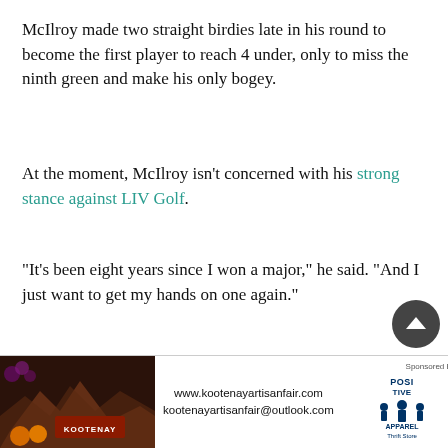McIlroy made two straight birdies late in his round to become the first player to reach 4 under, only to miss the ninth green and make his only bogey.
At the moment, McIlroy isn't concerned with his strong stance against LIV Golf.
“It’s been eight years since I won a major,” he said. “And I just want to get my hands on one again.”
Even with a good start, and coming off a victory last week in the Canadian Open, it doesn’t figure to be easy for McIlroy or anyone else. The Country Club might be as accommodating as it gets all week, with moderate wind…
[Figure (other): Advertisement banner for Kootenay Artisan Fair with logo, website www.kootenayartisanfair.com, email kootenayartisanfair@outlook.com, and Positive Apparel Thrift Store logo. Sponsored By label.]